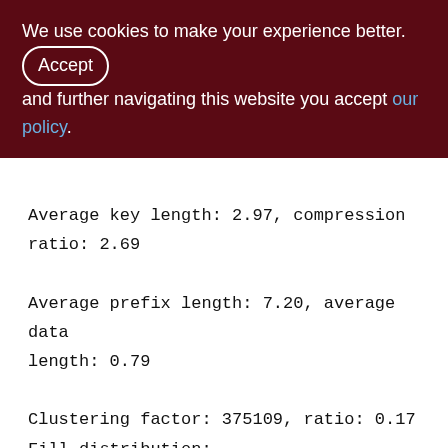We use cookies to make your experience better. By accepting and further navigating this website you accept our policy.
Average key length: 2.97, compression ratio: 2.69
Average prefix length: 7.20, average data length: 0.79
Clustering factor: 375109, ratio: 0.17
Fill distribution:
0 - 19% = 0
20 - 39% = 0
40 - 59% = 3373
60 - 79% = 1
80 - 99% = 0